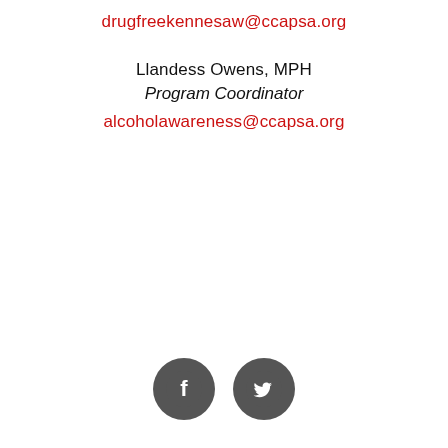drugfreekennesaw@ccapsa.org
Llandess Owens, MPH
Program Coordinator
alcoholawareness@ccapsa.org
[Figure (illustration): Facebook and Twitter social media icons as dark grey circles with white logos]